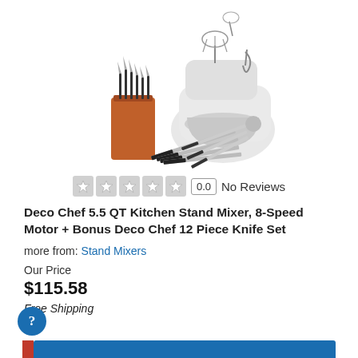[Figure (photo): Product photo showing a white stand mixer with attachments (whisk, bowl scraper, dough hook), a knife block set with wood base and black-handled knives, and additional knives laid out.]
0.0  No Reviews
Deco Chef 5.5 QT Kitchen Stand Mixer, 8-Speed Motor + Bonus Deco Chef 12 Piece Knife Set
more from: Stand Mixers
Our Price
$115.58
Free Shipping